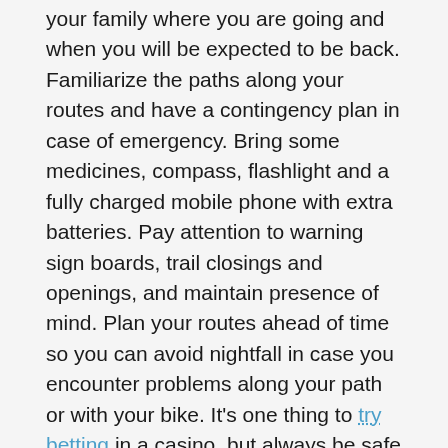your family where you are going and when you will be expected to be back. Familiarize the paths along your routes and have a contingency plan in case of emergency. Bring some medicines, compass, flashlight and a fully charged mobile phone with extra batteries. Pay attention to warning sign boards, trail closings and openings, and maintain presence of mind. Plan your routes ahead of time so you can avoid nightfall in case you encounter problems along your path or with your bike. It's one thing to try betting in a casino, but always be safe when out mountain biking. You don't need to bet on your life.
Are You Ready
You just bought a bike and all of a sudden, you thought you were ready to go mountain biking next week. Not that fast. A good biker gives enough time for physical and mental preparation. You may have to evaluate the risks to be ready to go mountain biking. Read to see what are f...